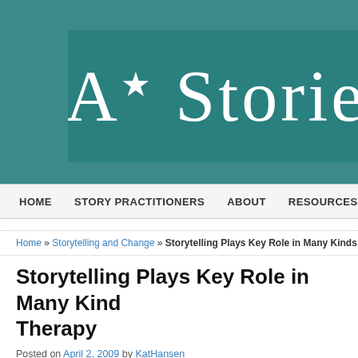[Figure (logo): A+ Stories blog logo with teal background showing stylized text 'A* Storie' in white on a darker teal rectangle]
HOME   STORY PRACTITIONERS   ABOUT   RESOURCES
Home » Storytelling and Change » Storytelling Plays Key Role in Many Kinds of Healing and...
Storytelling Plays Key Role in Many Kinds of Therapy
Posted on April 2, 2009 by KatHansen
Storytelling plays a key role for many...